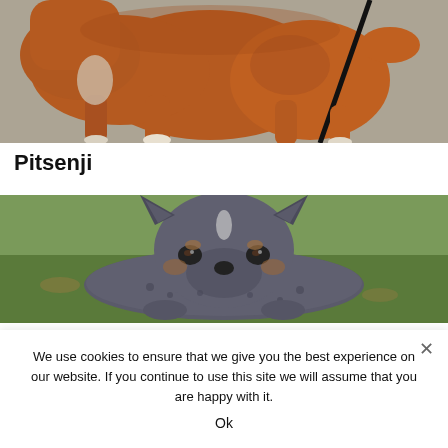[Figure (photo): Photo of a brown/tan dog (pitbull mix) walking on a concrete surface, seen from behind/side, on a black leash. The dog has white markings on its feet.]
Pitsenji
[Figure (photo): Photo of a small gray/blue speckled puppy (Australian Cattle Dog mix) lying on grass, looking at the camera with alert ears.]
We use cookies to ensure that we give you the best experience on our website. If you continue to use this site we will assume that you are happy with it.
Ok